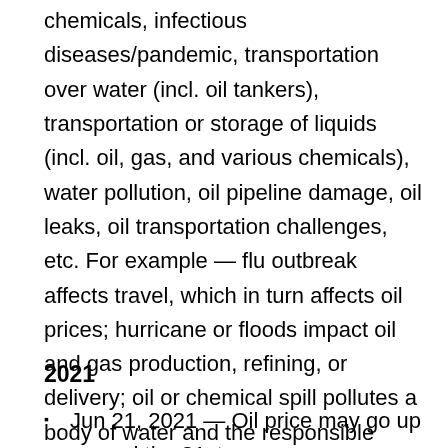chemicals, infectious diseases/pandemic, transportation over water (incl. oil tankers), transportation or storage of liquids (incl. oil, gas, and various chemicals), water pollution, oil pipeline damage, oil leaks, oil transportation challenges, etc. For example — flu outbreak affects travel, which in turn affects oil prices; hurricane or floods impact oil and gas production, refining, or delivery; oil or chemical spill pollutes a body of water and the responsible party's stock goes down; oil prices rise on the news of oil transportation being delayed; oil prices drop on pandemic concerns; etc. This is a look at a glance and subject to adjustments as I do additional research. Updates will be highlighted and dated.
2021
Jun 21, 2021 — Oil price may go up around the 21st or